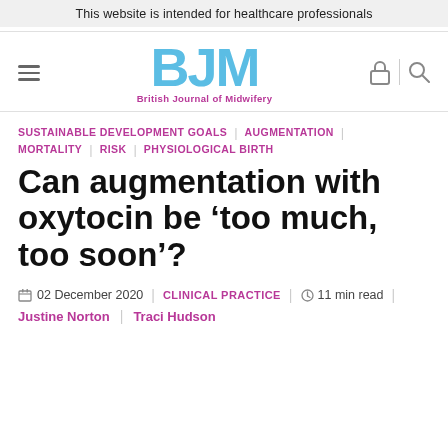This website is intended for healthcare professionals
[Figure (logo): BJM British Journal of Midwifery logo with hamburger menu, lock and search icons]
SUSTAINABLE DEVELOPMENT GOALS | AUGMENTATION | MORTALITY | RISK | PHYSIOLOGICAL BIRTH
Can augmentation with oxytocin be ‘too much, too soon’?
02 December 2020 | CLINICAL PRACTICE | 11 min read
Justine Norton | Traci Hudson